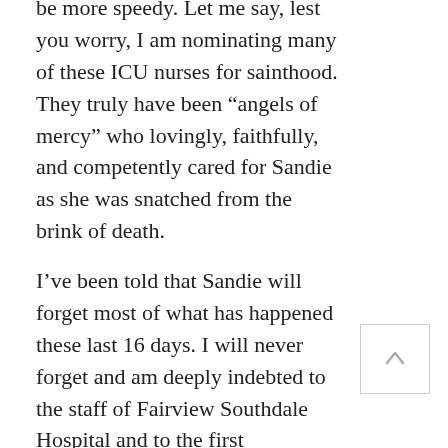be more speedy. Let me say, lest you worry, I am nominating many of these ICU nurses for sainthood. They truly have been “angels of mercy” who lovingly, faithfully, and competently cared for Sandie as she was snatched from the brink of death.
I’ve been told that Sandie will forget most of what has happened these last 16 days. I will never forget and am deeply indebted to the staff of Fairview Southdale Hospital and to the first responders from the city of Apple Valley.